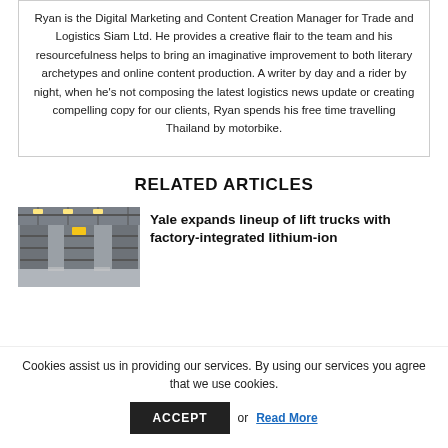Ryan is the Digital Marketing and Content Creation Manager for Trade and Logistics Siam Ltd. He provides a creative flair to the team and his resourcefulness helps to bring an imaginative improvement to both literary archetypes and online content production. A writer by day and a rider by night, when he's not composing the latest logistics news update or creating compelling copy for our clients, Ryan spends his free time travelling Thailand by motorbike.
RELATED ARTICLES
[Figure (photo): Interior of a warehouse with overhead lighting and shelving structure]
Yale expands lineup of lift trucks with factory-integrated lithium-ion
Cookies assist us in providing our services. By using our services you agree that we use cookies.